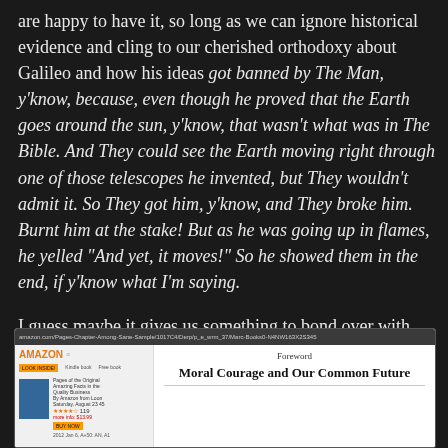are happy to have it, so long as we can ignore historical evidence and cling to our cherished orthodoxy about Galileo and how his ideas got banned by The Man, y'know, because, even though he proved that the Earth goes around the sun, y'know, that wasn't what was in The Bible. And They could see the Earth moving right through one of those telescopes he invented, but They wouldn't admit it. So They got him, y'know, and They broke him. Burnt him at the stake! But as he was going up in flames, he yelled "And yet, it moves!" So he showed them in the end, if y'know what I'm saying.
I guess maybe it gives us something to bond over with cousin Joey.
[Figure (screenshot): Screenshot of an Amazon page showing a book with 'Foreword: Moral Courage and Our Common Future' visible in the Look Inside preview]